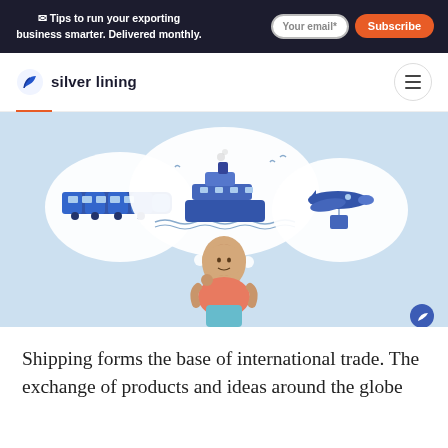✉ Tips to run your exporting business smarter. Delivered monthly. [Your email*] [Subscribe]
[Figure (logo): Silver Lining logo with blue leaf/arrow icon and text 'silver lining']
[Figure (illustration): Illustration of a woman in hijab thinking about shipping options: a train in a thought bubble on the left, a ship in a large central thought bubble, and an airplane with cargo on the right. Light blue background.]
Shipping forms the base of international trade. The exchange of products and ideas around the globe